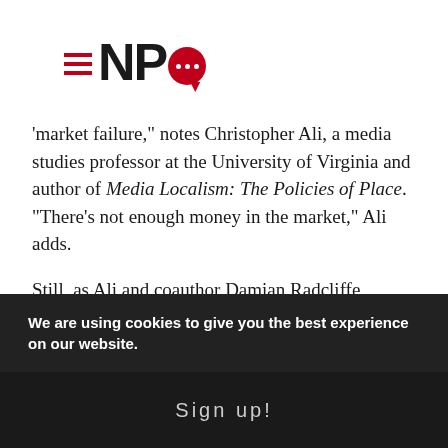NPQ logo
'market failure," notes Christopher Ali, a media studies professor at the University of Virginia and author of Media Localism: The Policies of Place. "There’s not enough money in the market," Ali adds.
Still, as Ali and coauthor Damian Radcliffe conclude in a 2017 report, “The future of small-town newspapers, or what we call ‘small market’ newspapers, is actually brighter than what most people think.”
“People associate the bad news about the big dailies with smaller, community publication,” Ali adds. “They
We are using cookies to give you the best experience on our website.
Sign up!